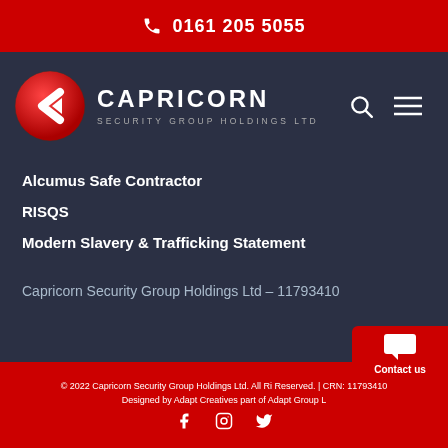0161 205 5055
[Figure (logo): Capricorn Security Group Holdings Ltd logo — red circle with white C-arrow mark, beside bold white CAPRICORN text and grey SECURITY GROUP HOLDINGS LTD subtitle]
Alcumus Safe Contractor
RISQS
Modern Slavery & Trafficking Statement
Capricorn Security Group Holdings Ltd – 11793410
© 2022 Capricorn Security Group Holdings Ltd. All Ri Reserved. | CRN: 11793410
Designed by Adapt Creatives part of Adapt Group L